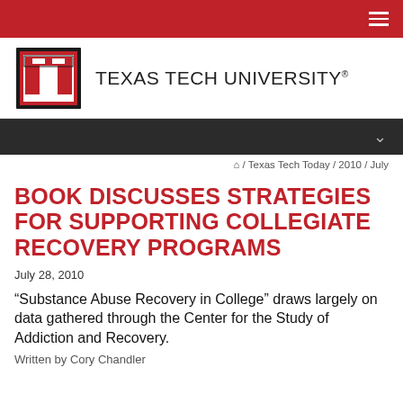Texas Tech University
🏠 / Texas Tech Today / 2010 / July
BOOK DISCUSSES STRATEGIES FOR SUPPORTING COLLEGIATE RECOVERY PROGRAMS
July 28, 2010
“Substance Abuse Recovery in College” draws largely on data gathered through the Center for the Study of Addiction and Recovery.
Written by Cory Chandler